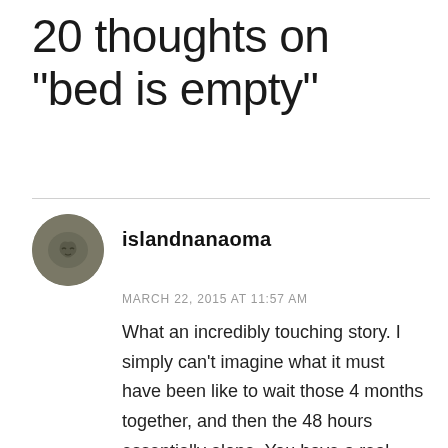20 thoughts on “bed is empty”
islandnanaoma
MARCH 22, 2015 AT 11:57 AM
What an incredibly touching story. I simply can’t imagine what it must have been like to wait those 4 months together, and then the 48 hours essentially alone. You have a real talent for writing without which we wouldn’t have the privilege of seeing into your very special lives. E is a lucky guy in more ways